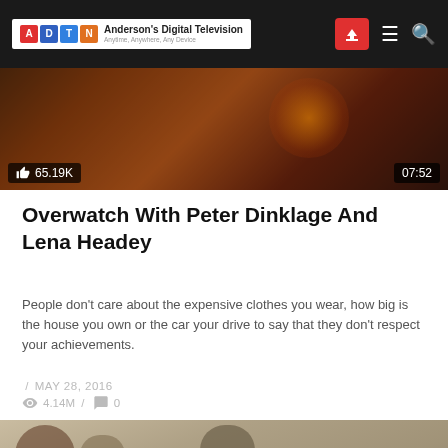Anderson's Digital Television — Anytime, Anywhere, Any Device
[Figure (screenshot): Video thumbnail showing fiery battle scene with like count 65.19K and duration 07:52]
Overwatch With Peter Dinklage And Lena Headey
People don't care about the expensive clothes you wear, how big is the house you own or the car your drive to say that they don't respect your achievements.
/ MAY 28, 2016
4.14M / 0
[Figure (screenshot): Game screenshot showing animated characters holding rifles and weapons, Overwatch-style game imagery]